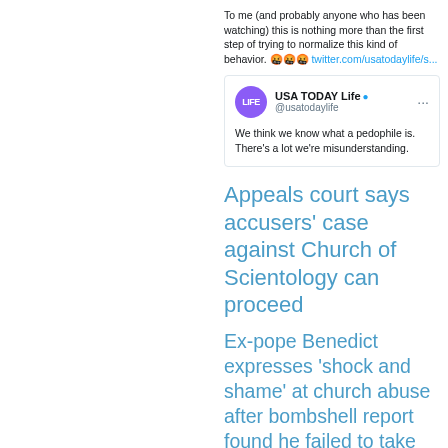To me (and probably anyone who has been watching) this is nothing more than the first step of trying to normalize this kind of behavior. 🤬🤬🤬 twitter.com/usatodaylife/s...
[Figure (screenshot): Embedded tweet from USA TODAY Life @usatodaylife reading: We think we know what a pedophile is. There's a lot we're misunderstanding.]
Appeals court says accusers' case against Church of Scientology can proceed
Ex-pope Benedict expresses 'shock and shame' at church abuse after bombshell report found he failed to take action against priests in four cases of alleged sexual abuse in his diocese while Archbishop of Munich Benedict - formerly Josef Ratzinger, who served as Archbishop of Munich between 1977 and 1982 ...